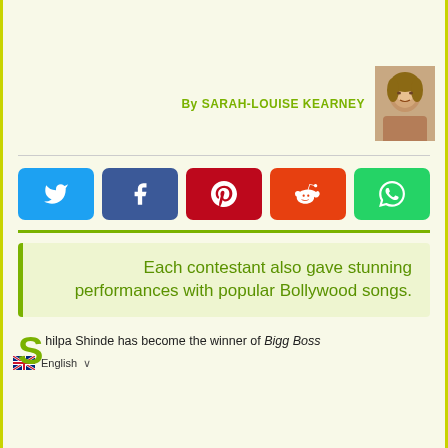By SARAH-LOUISE KEARNEY
[Figure (photo): Author photo of Sarah-Louise Kearney]
[Figure (infographic): Social media share buttons: Twitter, Facebook, Pinterest, Reddit, WhatsApp]
Each contestant also gave stunning performances with popular Bollywood songs.
Shilpa Shinde has become the winner of Bigg Boss